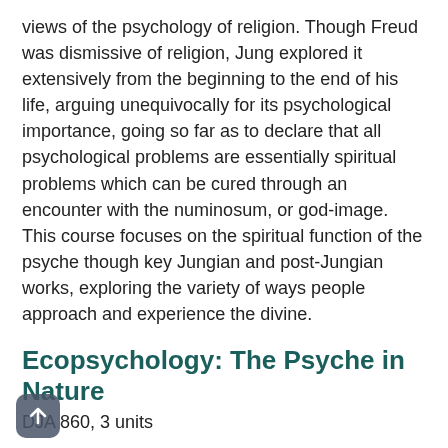views of the psychology of religion. Though Freud was dismissive of religion, Jung explored it extensively from the beginning to the end of his life, arguing unequivocally for its psychological importance, going so far as to declare that all psychological problems are essentially spiritual problems which can be cured through an encounter with the numinosum, or god-image. This course focuses on the spiritual function of the psyche though key Jungian and post-Jungian works, exploring the variety of ways people approach and experience the divine.
Ecopsychology: The Psyche in Nature
DJA 860, 3 units
As Jung saw it, “Natural life is the nourishing soil of the soul.” In this course, students will explore archetypal and mythological motifs that emerge from the ensouled world, including differing natural landscapes and the animal world. The importance of place to the psyche will provide rich discussion material, including an observation